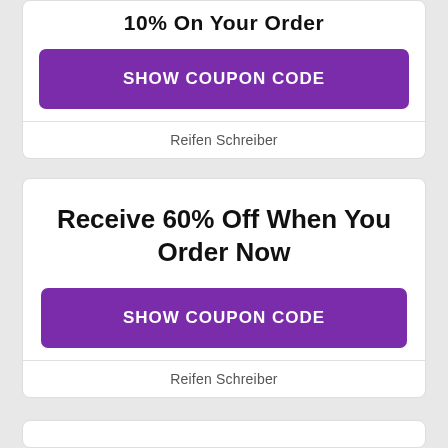10% On Your Order
SHOW COUPON CODE
Reifen Schreiber
Receive 60% Off When You Order Now
SHOW COUPON CODE
Reifen Schreiber